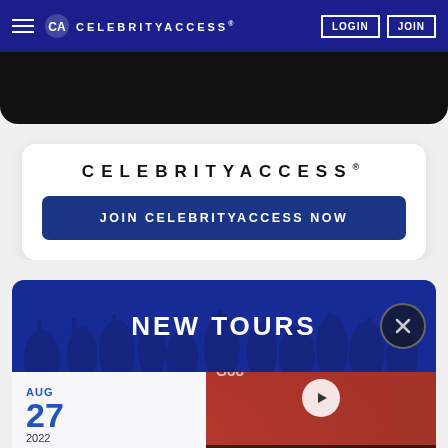CELEBRITYACCESS® — LOGIN | JOIN
[Figure (screenshot): Black image strip at top of page content area]
CELEBRITYACCESS®
JOIN CELEBRITYACCESS NOW
NEW TOURS
AUG 27 2022
[Figure (screenshot): Video overlay showing Variety logo, Google text, play button, and caption: Metallica and Mariah Carey will headline Global Citizen's New York festival]